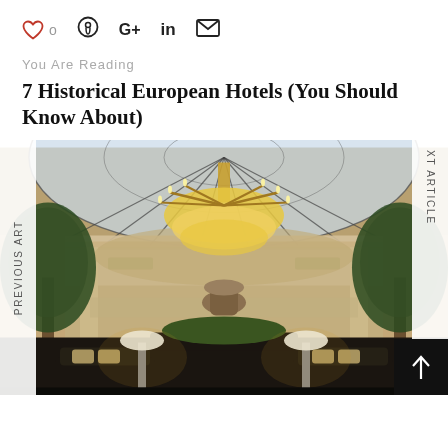♡ 0  Pinterest  G+  in  ✉
You Are Reading
7 Historical European Hotels (You Should Know About)
[Figure (photo): Luxury hotel lobby interior with a grand crystal chandelier, glass dome ceiling, tall indoor trees, elegant seating area with white lamp shades and dark upholstered sofas. Navigation labels 'PREVIOUS ART' on left and 'XT ARTICLE' on right.]